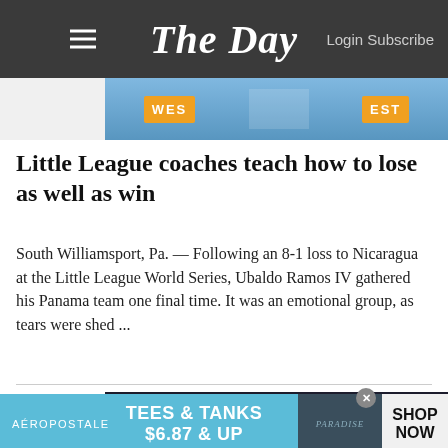The Day — Login Subscribe
[Figure (photo): Baseball players in orange and blue 'WEST' jerseys at Little League World Series]
Little League coaches teach how to lose as well as win
South Williamsport, Pa. — Following an 8-1 loss to Nicaragua at the Little League World Series, Ubaldo Ramos IV gathered his Panama team one final time. It was an emotional group, as tears were shed ...
[Figure (photo): Press conference backdrop with Chicago Bears and Hyundai logos, person partially visible]
[Figure (screenshot): Aeropostale advertisement: TEES & TANKS $6.87 & UP SHOP NOW]